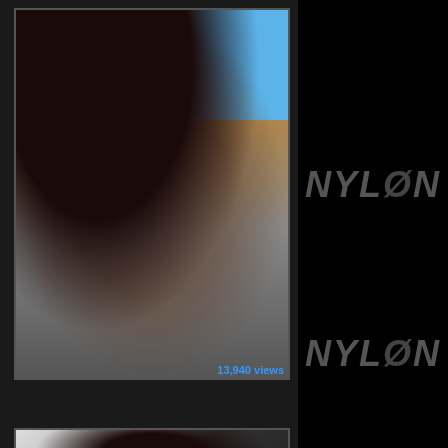[Figure (photo): Outdoor photo of a woman's legs in sheer black stockings and high-heeled black stilettos, seated outside near a pool area with blue sky background]
13,940 views
[Figure (photo): Partial photo of a woman with dark hair, partially cropped at bottom of page]
NYLON
NYLON